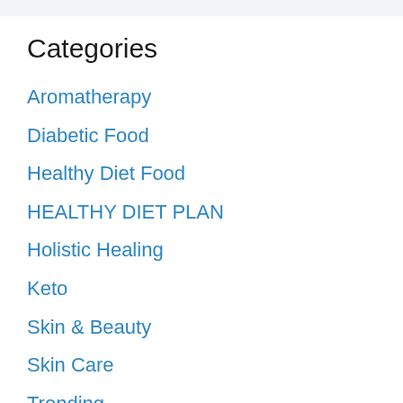Categories
Aromatherapy
Diabetic Food
Healthy Diet Food
HEALTHY DIET PLAN
Holistic Healing
Keto
Skin & Beauty
Skin Care
Trending
Vitamins